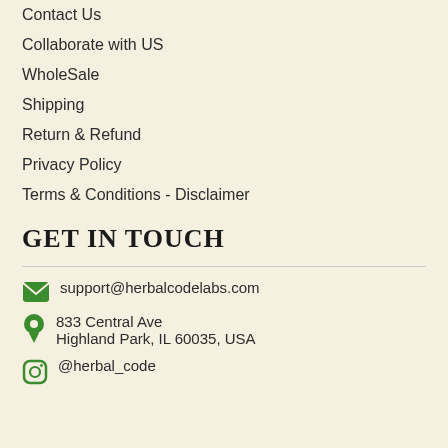Contact Us
Collaborate with US
WholeSale
Shipping
Return & Refund
Privacy Policy
Terms & Conditions - Disclaimer
GET IN TOUCH
support@herbalcodelabs.com
833 Central Ave
Highland Park, IL 60035, USA
@herbal_code